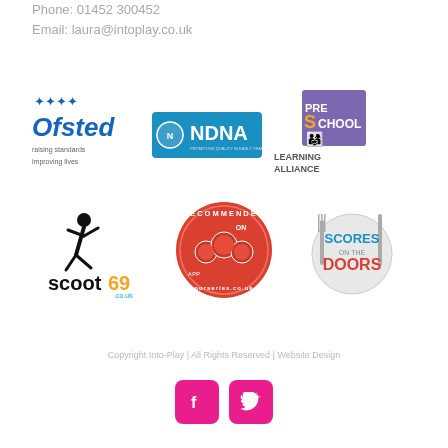Phone: 01452 300452
Email: laura@intoplay.co.uk
[Figure (logo): Ofsted logo - raising standards improving lives]
[Figure (logo): NDNA - Promoting Quality in Early Years logo]
[Figure (logo): Pre-School Learning Alliance logo]
[Figure (logo): Scoot69 logo]
[Figure (logo): Recommended On nurseries.co.uk badge]
[Figure (logo): Scores on the Doors logo]
Copyright Into-Play | All Rights Reserved | Website Design
[Figure (other): Facebook and Twitter social media icon buttons]